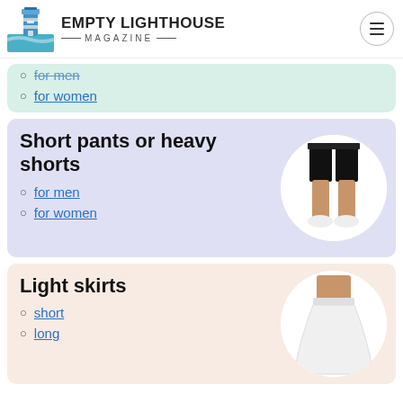Empty Lighthouse Magazine
for men (strikethrough)
for women
Short pants or heavy shorts
for men
for women
[Figure (photo): Person wearing black shorts, standing, shown from waist down with white sneakers]
Light skirts
short
long
[Figure (photo): Person wearing white skirt, shown from waist down]